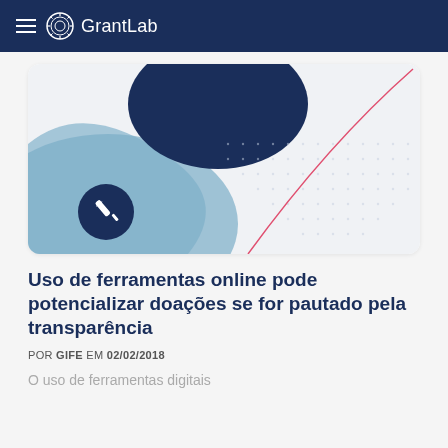GrantLab
[Figure (illustration): Decorative card with abstract shapes: dark navy circular blob top center, light blue wave shape bottom-left, dotted light background with a diagonal red/pink curved line. A dark navy circular icon with a screwdriver/tool symbol sits at the bottom-left of the card.]
Uso de ferramentas online pode potencializar doações se for pautado pela transparência
POR GIFE EM 02/02/2018
O uso de ferramentas digitais